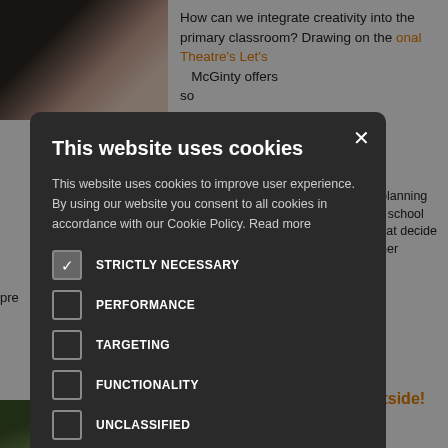[Figure (screenshot): Background website page showing education articles with images and orange headings, partially obscured by cookie consent overlay]
How can we integrate creativity into the primary classroom? Drawing on the National Theatre's Let's ... McGinty offers so...
...ffective ...nising ...dvice on planning ...l and safe school ...schools that decide ...ator or other pre...
...nge outside! ...it's a good time to ...rs. Suzanne ...what the Education Endowment Foundation has to say about
This website uses cookies
This website uses cookies to improve user experience. By using our website you consent to all cookies in accordance with our Cookie Policy. Read more
STRICTLY NECESSARY
PERFORMANCE
TARGETING
FUNCTIONALITY
UNCLASSIFIED
ACCEPT ALL
DECLINE ALL
SHOW DETAILS